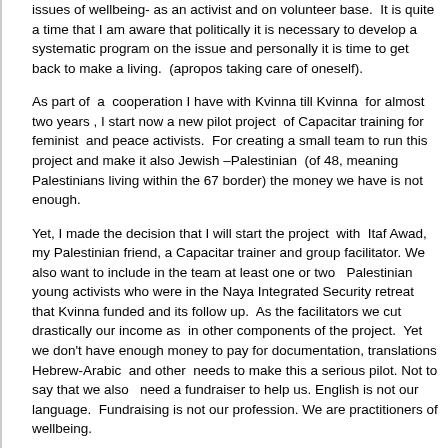issues of wellbeing- as an activist and on volunteer base.  It is quite a time that I am aware that politically it is necessary to develop a systematic program on the issue and personally it is time to get back to make a living.  (apropos taking care of oneself).
As part of  a  cooperation I have with Kvinna till Kvinna  for almost two years , I start now a new pilot project  of Capacitar training for feminist  and peace activists.  For creating a small team to run this project and make it also Jewish –Palestinian  (of 48, meaning Palestinians living within the 67 border) the money we have is not enough.
Yet, I made the decision that I will start the project  with  Itaf Awad, my Palestinian friend, a Capacitar trainer and group facilitator. We also want to include in the team at least one or two   Palestinian young activists who were in the Naya Integrated Security retreat that Kvinna funded and its follow up.  As the facilitators we cut drastically our income as  in other components of the project.  Yet  we don't have enough money to pay for documentation, translations Hebrew-Arabic  and other  needs to make this a serious pilot. Not to say that we also   need a fundraiser to help us. English is not our language.  Fundraising is not our profession. We are practitioners of wellbeing.